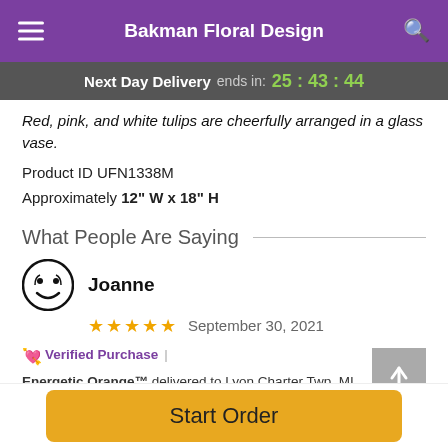Bakman Floral Design
Next Day Delivery ends in: 25:43:44
Red, pink, and white tulips are cheerfully arranged in a glass vase.
Product ID UFN1338M
Approximately 12" W x 18" H
What People Are Saying
Joanne
★★★★★  September 30, 2021
🎀 Verified Purchase | Energetic Orange™ delivered to Lyon Charter Twp, MI